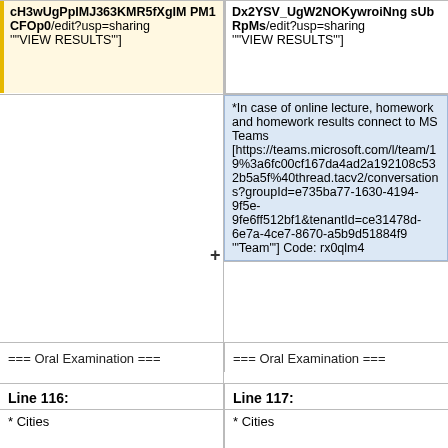cH3wUgPpIMJ363KMR5fXgIM PM1CFOp0/edit?usp=sharing '"VIEW RESULTS"']
Dx2YSV_UgW2NOKywroiNng sUbRpMs/edit?usp=sharing '"VIEW RESULTS"']
*In case of online lecture, homework and homework results connect to MS Teams [https://teams.microsoft.com/l/team/19%3a6fc00cf167da4ad2a192108c532b5a5f%40thread.tacv2/conversations?groupId=e735ba77-1630-4194-9f5e-9fe6ff512bf1&tenantId=ce31478d-6e7a-4ce7-8670-a5b9d51884f9 '"Team"'] Code: rx0qlm4
=== Oral Examination ===
=== Oral Examination ===
Line 116:
Line 117:
* Cities
* Cities